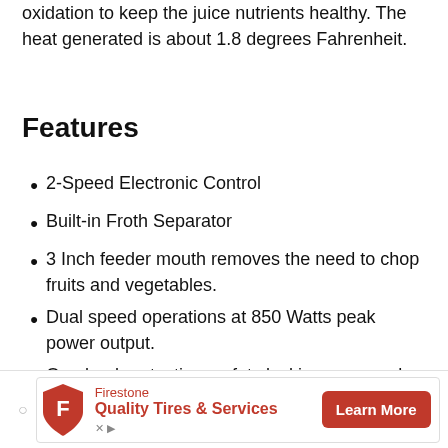oxidation to keep the juice nutrients healthy. The heat generated is about 1.8 degrees Fahrenheit.
Features
2-Speed Electronic Control
Built-in Froth Separator
3 Inch feeder mouth removes the need to chop fruits and vegetables.
Dual speed operations at 850 Watts peak power output.
Overload protection, safety locking arms and a large pulp collector capacity with side handles
[Figure (other): Firestone advertisement banner: shield logo, 'Firestone Quality Tires & Services' text, red 'Learn More' button]